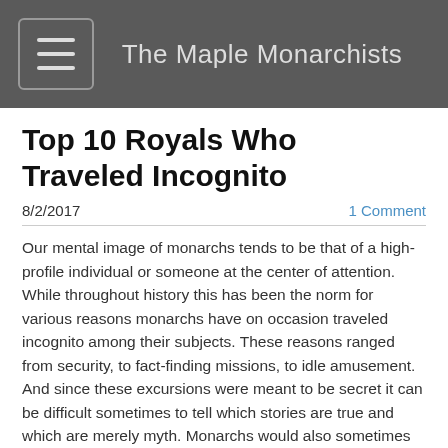The Maple Monarchists
Top 10 Royals Who Traveled Incognito
8/2/2017
1 Comment
Our mental image of monarchs tends to be that of a high-profile individual or someone at the center of attention. While throughout history this has been the norm for various reasons monarchs have on occasion traveled incognito among their subjects. These reasons ranged from security, to fact-finding missions, to idle amusement. And since these excursions were meant to be secret it can be difficult sometimes to tell which stories are true and which are merely myth. Monarchs would also sometimes use an alias not so much as a disguise but as a 'polite fiction' to avoid forcing the host to perform all the grand state welcome ceremonies they would have to for a high status guest. While equally interesting these cases have been left for a later post. So without further delay let us go through this list (in no particular order) of the top 10 royals who